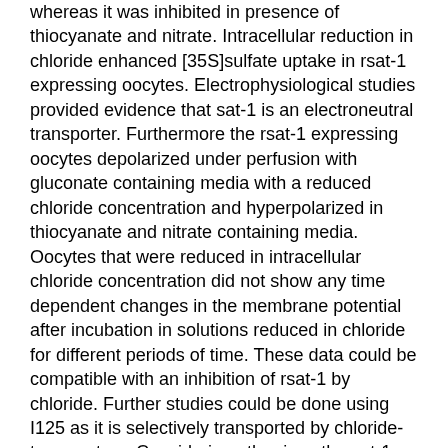whereas it was inhibited in presence of thiocyanate and nitrate. Intracellular reduction in chloride enhanced [35S]sulfate uptake in rsat-1 expressing oocytes. Electrophysiological studies provided evidence that sat-1 is an electroneutral transporter. Furthermore the rsat-1 expressing oocytes depolarized under perfusion with gluconate containing media with a reduced chloride concentration and hyperpolarized in thiocyanate and nitrate containing media. Oocytes that were reduced in intracellular chloride concentration did not show any time dependent changes in the membrane potential after incubation in solutions reduced in chloride for different periods of time. These data could be compatible with an inhibition of rsat-1 by chloride. Further studies could be done using I125 as it is selectively transported by chloride-transporters. Considering other ions the sat-1 expressing oocytes showed an increased [35S]sulfate uptake after intracellular acidification by incubation in ammonium chloride containing solutions which could be due to a reduced inhibition by bicarbonate or changes in conformation by protonation. Both rsat-1 and water injected oocytes depolarized under calcium reduced conditions. These results show that the membrane potential of Xenopus oocytes is highly dependent on the extracellular calcium concentration.
Keywords: sat-1; kidney; chloride; xenopus; sulfate